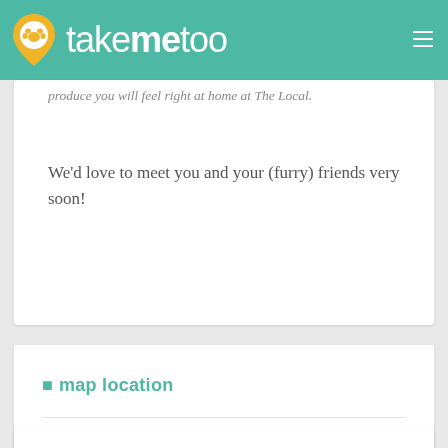takemetoo
produce you will feel right at home at The Local.
We'd love to meet you and your (furry) friends very soon!
map location
Map Directions
Toggle Street View